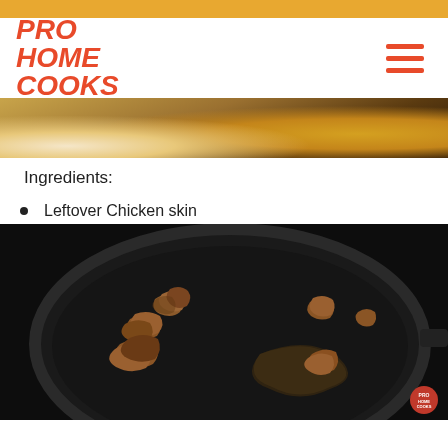PRO HOME COOKS
[Figure (photo): Partial view of food ingredients on a wooden surface with oil bottle]
Ingredients:
Leftover Chicken skin
[Figure (photo): Chicken skin pieces being rendered/fried in a dark non-stick pan, showing rendered fat pooling around the pieces]